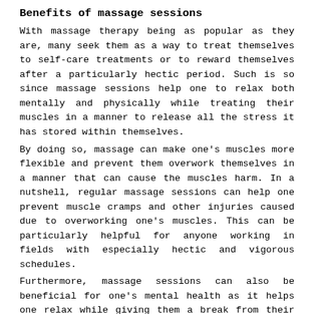Benefits of massage sessions
With massage therapy being as popular as they are, many seek them as a way to treat themselves to self-care treatments or to reward themselves after a particularly hectic period. Such is so since massage sessions help one to relax both mentally and physically while treating their muscles in a manner to release all the stress it has stored within themselves.
By doing so, massage can make one's muscles more flexible and prevent them overwork themselves in a manner that can cause the muscles harm. In a nutshell, regular massage sessions can help one prevent muscle cramps and other injuries caused due to overworking one's muscles. This can be particularly helpful for anyone working in fields with especially hectic and vigorous schedules.
Furthermore, massage sessions can also be beneficial for one's mental health as it helps one relax while giving them a break from their stressful